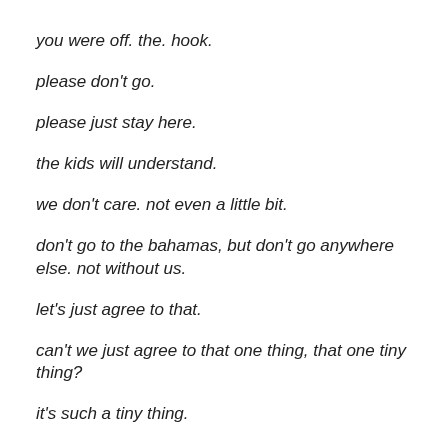you were off. the. hook.
please don't go.
please just stay here.
the kids will understand.
we don't care. not even a little bit.
don't go to the bahamas, but don't go anywhere else. not without us.
let's just agree to that.
can't we just agree to that one thing, that one tiny thing?
it's such a tiny thing.